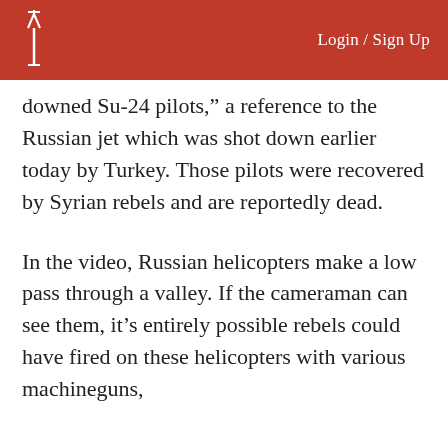Login / Sign Up
downed Su-24 pilots,” a reference to the Russian jet which was shot down earlier today by Turkey. Those pilots were recovered by Syrian rebels and are reportedly dead.
In the video, Russian helicopters make a low pass through a valley. If the cameraman can see them, it’s entirely possible rebels could have fired on these helicopters with various machineguns,